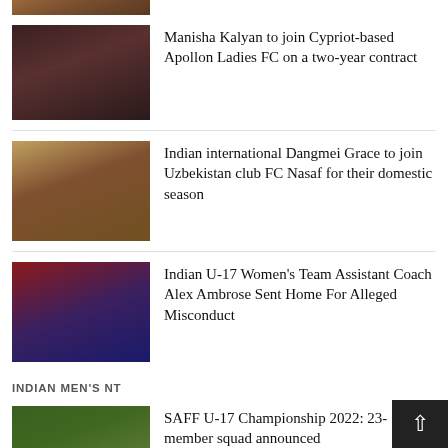[Figure (photo): Partial top strip of a sports team photo, cropped at the top of the page]
Manisha Kalyan to join Cypriot-based Apollon Ladies FC on a two-year contract
[Figure (photo): Photo of Manisha Kalyan celebrating on a football pitch at night]
Indian international Dangmei Grace to join Uzbekistan club FC Nasaf for their domestic season
[Figure (photo): Photo of Dangmei Grace running on a track/football field]
Indian U-17 Women's Team Assistant Coach Alex Ambrose Sent Home For Alleged Misconduct
[Figure (photo): Photo of Indian U-17 Women's football team lined up on a stadium pitch]
INDIAN MEN'S NT
SAFF U-17 Championship 2022: 23-member squad announced
[Figure (photo): Photo of a football squad lined up outdoors on a green pitch]